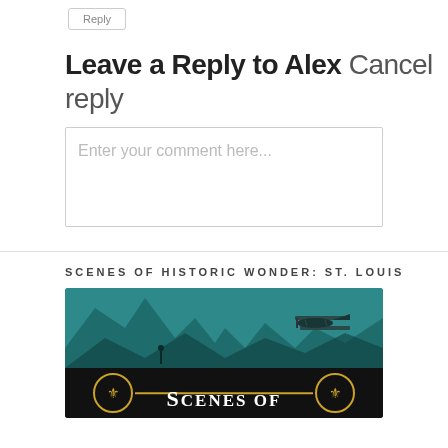Reply
Leave a Reply to Alex Cancel reply
Enter your comment here...
SCENES OF HISTORIC WONDER: ST. LOUIS
[Figure (illustration): Book cover image with teal background showing historical scenes of St. Louis, with biplane visible on right side. Bottom has dark bar with two fleur-de-lis circles connected by gold line, and 'Scenes of' text in serif font.]